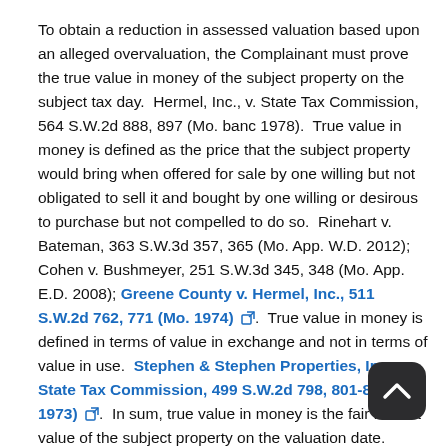To obtain a reduction in assessed valuation based upon an alleged overvaluation, the Complainant must prove the true value in money of the subject property on the subject tax day.  Hermel, Inc., v. State Tax Commission, 564 S.W.2d 888, 897 (Mo. banc 1978).  True value in money is defined as the price that the subject property would bring when offered for sale by one willing but not obligated to sell it and bought by one willing or desirous to purchase but not compelled to do so.  Rinehart v. Bateman, 363 S.W.3d 357, 365 (Mo. App. W.D. 2012); Cohen v. Bushmeyer, 251 S.W.3d 345, 348 (Mo. App. E.D. 2008); Greene County v. Hermel, Inc., 511 S.W.2d 762, 771 (Mo. 1974) [link].  True value in money is defined in terms of value in exchange and not in terms of value in use.  Stephen & Stephen Properties, Inc. v. State Tax Commission, 499 S.W.2d 798, 801-803 (Mo. 1973) [link].  In sum, true value in money is the fair market value of the subject property on the valuation date.  Hermel, Inc., 564 S.W.2d at 897.
"'True value' is never an absolute figure, but is merely an estimate of the fair market value on the valuation date."  Drury Chesterfield...